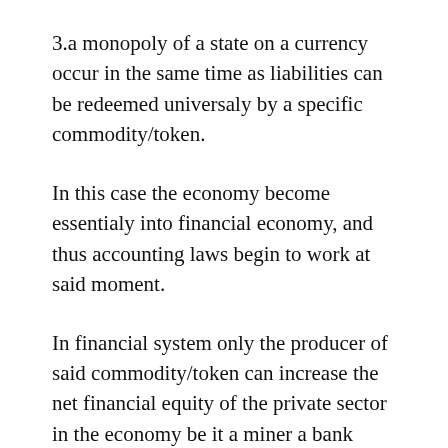3.a monopoly of a state on a currency occur in the same time as liabilities can be redeemed universaly by a specific commodity/token.
In this case the economy become essentialy into financial economy, and thus accounting laws begin to work at said moment.
In financial system only the producer of said commodity/token can increase the net financial equity of the private sector in the economy be it a miner a bank which issue its own token or the government.
Even in case when the government allow for private entities to produce assets its essentialy